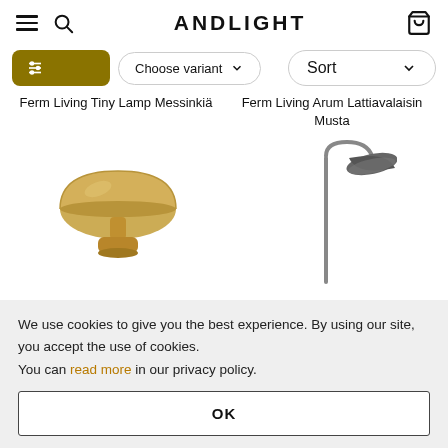ANDLIGHT
Choose variant
Sort
Ferm Living Tiny Lamp Messinkiä
Ferm Living Arum Lattiavalaisin Musta
[Figure (photo): Gold/brass mushroom-shaped table lamp (Ferm Living Tiny Lamp Messinkiä)]
[Figure (photo): Dark grey/black arc floor lamp with wide curved shade (Ferm Living Arum Lattiavalaisin Musta)]
We use cookies to give you the best experience. By using our site, you accept the use of cookies.
You can read more in our privacy policy.
OK